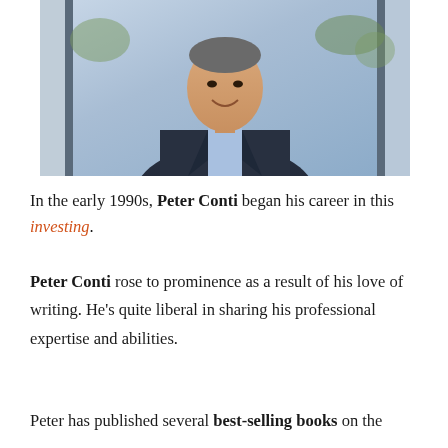[Figure (photo): Professional headshot of Peter Conti, a middle-aged man in a dark blazer and light blue shirt, smiling, photographed indoors near large windows with greenery visible outside.]
In the early 1990s, Peter Conti began his career in this investing.
Peter Conti rose to prominence as a result of his love of writing. He's quite liberal in sharing his professional expertise and abilities.
Peter has published several best-selling books on the